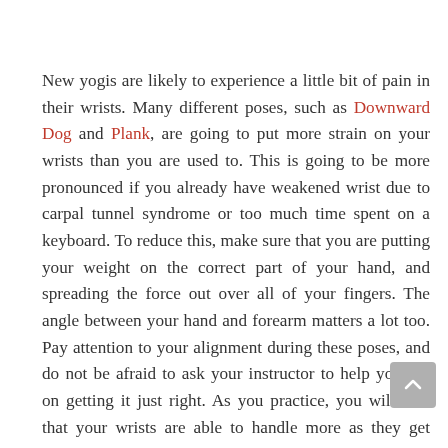New yogis are likely to experience a little bit of pain in their wrists. Many different poses, such as Downward Dog and Plank, are going to put more strain on your wrists than you are used to. This is going to be more pronounced if you already have weakened wrist due to carpal tunnel syndrome or too much time spent on a keyboard. To reduce this, make sure that you are putting your weight on the correct part of your hand, and spreading the force out over all of your fingers. The angle between your hand and forearm matters a lot too. Pay attention to your alignment during these poses, and do not be afraid to ask your instructor to help you out on getting it just right. As you practice, you will find that your wrists are able to handle more as they get stronger.
On the odd occasion that a yoga injury does occur, the